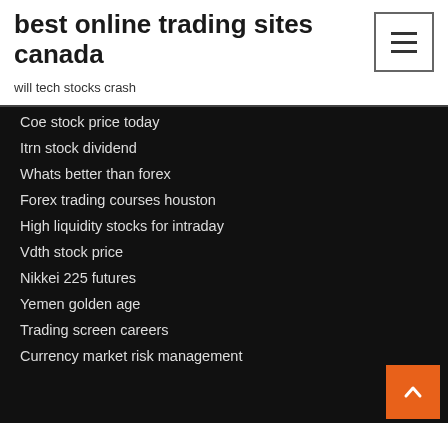best online trading sites canada
will tech stocks crash
Coe stock price today
Itrn stock dividend
Whats better than forex
Forex trading courses houston
High liquidity stocks for intraday
Vdth stock price
Nikkei 225 futures
Yemen golden age
Trading screen careers
Currency market risk management